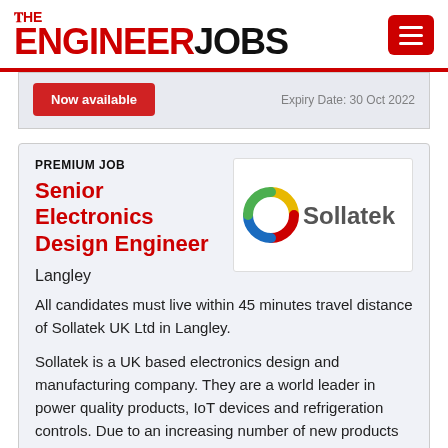THE ENGINEER JOBS
[Figure (logo): The Engineer Jobs website logo with red hamburger menu button]
Now available   Expiry Date: 30 Oct 2022
PREMIUM JOB
Senior Electronics Design Engineer
Langley
[Figure (logo): Sollatek company logo with colorful S symbol and Sollatek text]
All candidates must live within 45 minutes travel distance of Sollatek UK Ltd in Langley.
Sollatek is a UK based electronics design and manufacturing company. They are a world leader in power quality products, IoT devices and refrigeration controls. Due to an increasing number of new products and opportunities, Sollatek UK Ltd is currently looking to